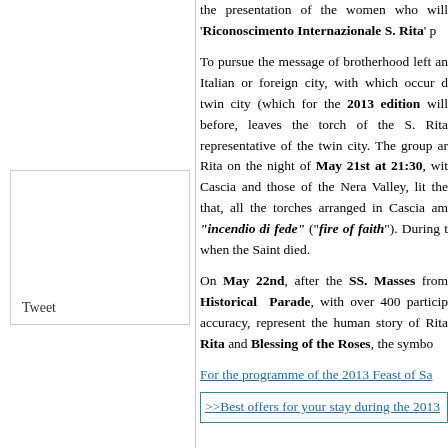the presentation of the women who will 'Riconoscimento Internazionale S. Rita' p
To pursue the message of brotherhood left an Italian or foreign city, with which occur d twin city (which for the 2013 edition will before, leaves the torch of the S. Rita representative of the twin city. The group ar Rita on the night of May 21st at 21:30, with Cascia and those of the Nera Valley, lit the that, all the torches arranged in Cascia am "incendio di fede" ("fire of faith"). During t when the Saint died.
On May 22nd, after the SS. Masses from Historical Parade, with over 400 particip accuracy, represent the human story of Rita Rita and Blessing of the Roses, the symbo
For the programme of the 2013 Feast of Sa
>>Best offers for your stay during the 2013